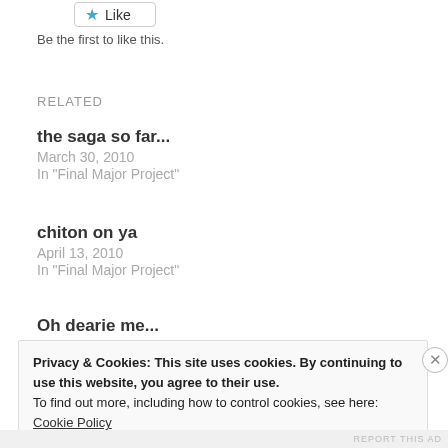[Figure (other): Like button with blue star icon]
Be the first to like this.
RELATED
the saga so far...
March 30, 2010
In "Final Major Project"
chiton on ya
April 13, 2010
In "Final Major Project"
Oh dearie me...
Privacy & Cookies: This site uses cookies. By continuing to use this website, you agree to their use.
To find out more, including how to control cookies, see here: Cookie Policy
Close and accept